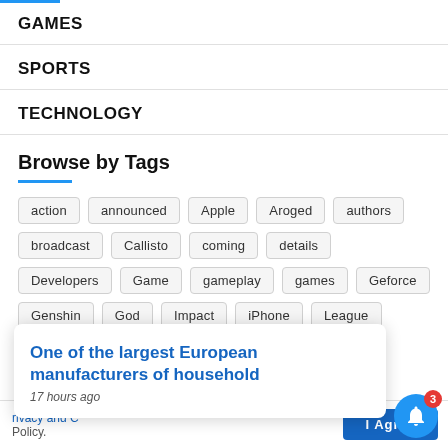GAMES
SPORTS
TECHNOLOGY
Browse by Tags
action, announced, Apple, Aroged, authors, broadcast, Callisto, coming, details, Developers, Game, gameplay, games, Geforce, Genshin, God, Impact, iPhone, League, Lo..., match
One of the largest European manufacturers of household
17 hours ago
his website you are
rivacy and C
Policy.
I Agree